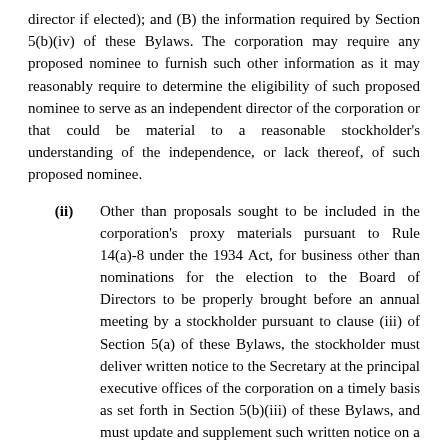director if elected); and (B) the information required by Section 5(b)(iv) of these Bylaws. The corporation may require any proposed nominee to furnish such other information as it may reasonably require to determine the eligibility of such proposed nominee to serve as an independent director of the corporation or that could be material to a reasonable stockholder's understanding of the independence, or lack thereof, of such proposed nominee.
(ii) Other than proposals sought to be included in the corporation's proxy materials pursuant to Rule 14(a)-8 under the 1934 Act, for business other than nominations for the election to the Board of Directors to be properly brought before an annual meeting by a stockholder pursuant to clause (iii) of Section 5(a) of these Bylaws, the stockholder must deliver written notice to the Secretary at the principal executive offices of the corporation on a timely basis as set forth in Section 5(b)(iii) of these Bylaws, and must update and supplement such written notice on a timely basis as set forth in Section 5(c) of these Bylaws. Such stockholder's notice shall set forth: (A) as to each matter such stockholder proposes to bring before the